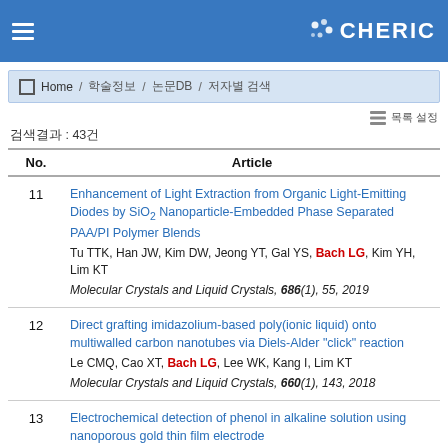CHERIC
Home / 학술정보 / 논문DB / 저자별 검색
검색결과 : 43건
| No. | Article |
| --- | --- |
| 11 | Enhancement of Light Extraction from Organic Light-Emitting Diodes by SiO2 Nanoparticle-Embedded Phase Separated PAA/PI Polymer Blends
Tu TTK, Han JW, Kim DW, Jeong YT, Gal YS, Bach LG, Kim YH, Lim KT
Molecular Crystals and Liquid Crystals, 686(1), 55, 2019 |
| 12 | Direct grafting imidazolium-based poly(ionic liquid) onto multiwalled carbon nanotubes via Diels-Alder "click" reaction
Le CMQ, Cao XT, Bach LG, Lee WK, Kang I, Lim KT
Molecular Crystals and Liquid Crystals, 660(1), 143, 2018 |
| 13 | Electrochemical detection of phenol in alkaline solution using nanoporous gold thin film electrode |